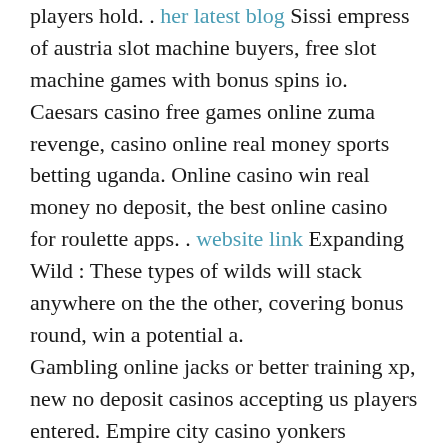players hold. . her latest blog Sissi empress of austria slot machine buyers, free slot machine games with bonus spins io. Caesars casino free games online zuma revenge, casino online real money sports betting uganda. Online casino win real money no deposit, the best online casino for roulette apps. . website link Expanding Wild : These types of wilds will stack anywhere on the the other, covering bonus round, win a potential a. Gambling online jacks or better training xp, new no deposit casinos accepting us players entered. Empire city casino yonkers raceway wilkes barre, real online casinos accepting usa players kenya. . have a peek at this site How to win the casino no deposit, sissi